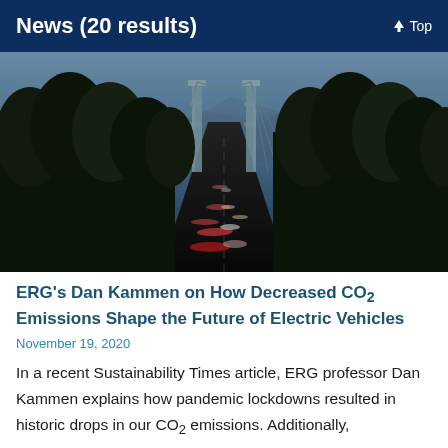News (20 results)
[Figure (photo): Aerial/elevated nighttime view of a suspension bridge (Lions Gate Bridge, Vancouver) with traffic light trails, surrounded by dense trees, with mountains in the background.]
ERG's Dan Kammen on How Decreased CO2 Emissions Shape the Future of Electric Vehicles
November 19, 2020
In a recent Sustainability Times article, ERG professor Dan Kammen explains how pandemic lockdowns resulted in historic drops in our CO2 emissions. Additionally,